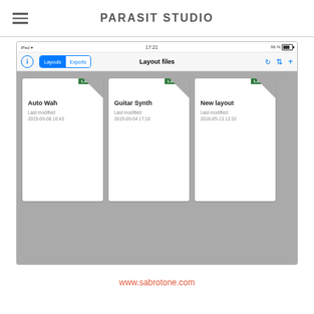PARASIT STUDIO
[Figure (screenshot): iPad screenshot showing the Parasit Studio app with Layout files view. Three layout file cards are displayed: Auto Wah (last modified 2015-09-08 16:43), Guitar Synth (last modified 2015-09-04 17:10), and New layout (last modified 2016-05-13 12:32). The app has a segmented control with Layouts and Exports tabs.]
www.sabrotone.com